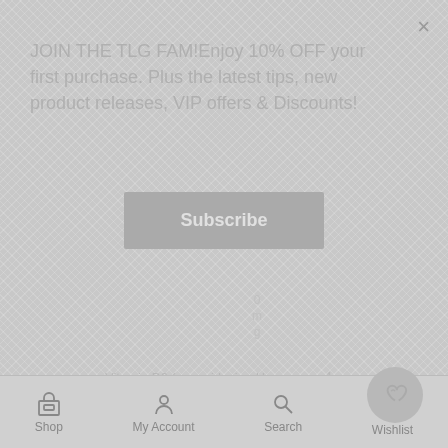JOIN THE TLG FAM!Enjoy 10% OFF your first purchase. Plus the latest tips, new product releases, VIP offers & Discounts!
Subscribe
0mg
|  |  |  |
| --- | --- | --- |
| Vitamin B6 (as pyridoxine H...Cl) | 4.2mg | 210% |
Shop   My Account   Search   Wishlist